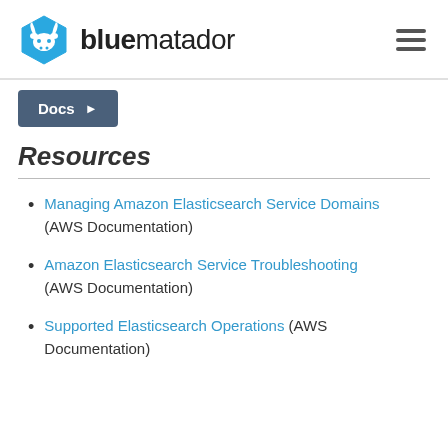bluematador
Docs ▶
Resources
Managing Amazon Elasticsearch Service Domains (AWS Documentation)
Amazon Elasticsearch Service Troubleshooting (AWS Documentation)
Supported Elasticsearch Operations (AWS Documentation)